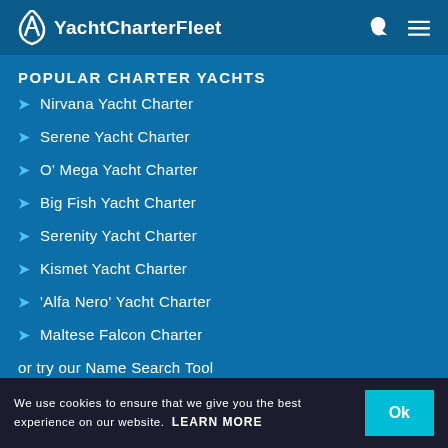YachtCharterFleet
POPULAR CHARTER YACHTS
Nirvana Yacht Charter
Serene Yacht Charter
O' Mega Yacht Charter
Big Fish Yacht Charter
Serenity Yacht Charter
Kismet Yacht Charter
'Alfa Nero' Yacht Charter
Maltese Falcon Charter
or try our Name Search Tool
We use cookies to ensure that we give you the best experience on our website. LEARN MORE